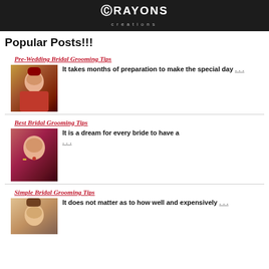[Figure (logo): Crayons Creations logo on dark background]
Popular Posts!!!
Pre-Wedding Bridal Grooming Tips
It takes months of preparation to make the special day . . .
Best Bridal Grooming Tips
It is a dream for every bride to have a . . .
Simple Bridal Grooming Tips
It does not matter as to how well and expensively . . .